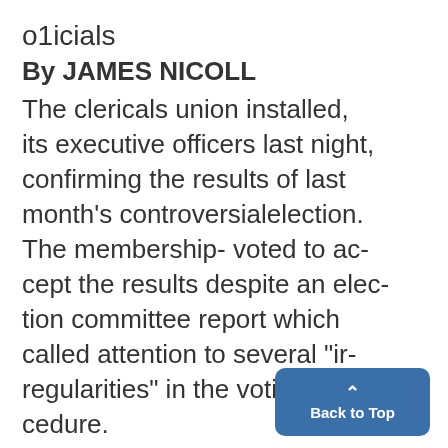o1icials
By JAMES NICOLL
The clericals union installed, its executive officers last night, confirming the results of last month's controversialelection. The membership- voted to ac-cept the results despite an elec-tion committee report which called attention to several "ir-regularities" in the voting pro-cedure. About 225 clericals attended the often heated meeting. By